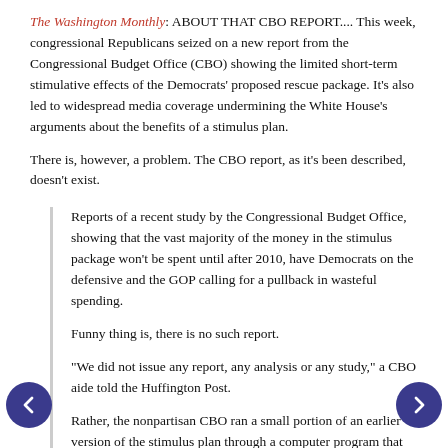The Washington Monthly: ABOUT THAT CBO REPORT.... This week, congressional Republicans seized on a new report from the Congressional Budget Office (CBO) showing the limited short-term stimulative effects of the Democrats' proposed rescue package. It's also led to widespread media coverage undermining the White House's arguments about the benefits of a stimulus plan.
There is, however, a problem. The CBO report, as it's been described, doesn't exist.
Reports of a recent study by the Congressional Budget Office, showing that the vast majority of the money in the stimulus package won't be spent until after 2010, have Democrats on the defensive and the GOP calling for a pullback in wasteful spending.
Funny thing is, there is no such report.
"We did not issue any report, any analysis or any study," a CBO aide told the Huffington Post.
Rather, the nonpartisan CBO ran a small portion of an earlier version of the stimulus plan through a computer program that uses a standard formula to determine a score -- how quickly money will be spent. The score only dealt with the part of the